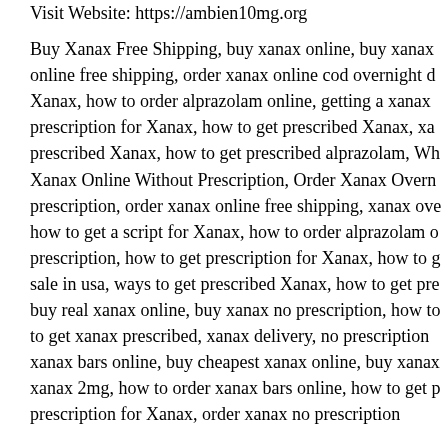Visit Website: https://ambien10mg.org
Buy Xanax Free Shipping, buy xanax online, buy xanax online free shipping, order xanax online cod overnight d Xanax, how to order alprazolam online, getting a xanax prescription for Xanax, how to get prescribed Xanax, xa prescribed Xanax, how to get prescribed alprazolam, Wh Xanax Online Without Prescription, Order Xanax Overn prescription, order xanax online free shipping, xanax ove how to get a script for Xanax, how to order alprazolam o prescription, how to get prescription for Xanax, how to g sale in usa, ways to get prescribed Xanax, how to get pre buy real xanax online, buy xanax no prescription, how to to get xanax prescribed, xanax delivery, no prescription xanax bars online, buy cheapest xanax online, buy xanax xanax 2mg, how to order xanax bars online, how to get p prescription for Xanax, order xanax no prescription
Visit Website: https://ambien10mg.org
April 14, 2021 at 05:52 | Report abuse |
Buy adderall online
For Any Inquiries:
Contact Us Securely: Keys2Inquiries (At) Tutanota (.)Co
– Wickr: (Keys2Pharm)